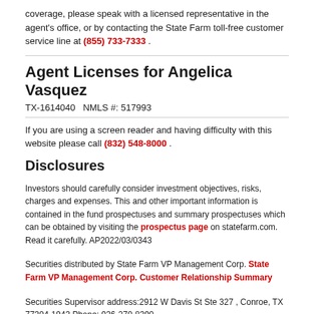coverage, please speak with a licensed representative in the agent's office, or by contacting the State Farm toll-free customer service line at (855) 733-7333 .
Agent Licenses for Angelica Vasquez
TX-1614040   NMLS #: 517993
If you are using a screen reader and having difficulty with this website please call (832) 548-8000 .
Disclosures
Investors should carefully consider investment objectives, risks, charges and expenses. This and other important information is contained in the fund prospectuses and summary prospectuses which can be obtained by visiting the prospectus page on statefarm.com. Read it carefully. AP2022/03/0343
Securities distributed by State Farm VP Management Corp. State Farm VP Management Corp. Customer Relationship Summary
Securities Supervisor address:2912 W Davis St Ste 327 , Conroe, TX 77304-1943 Phone: 936-270-8390